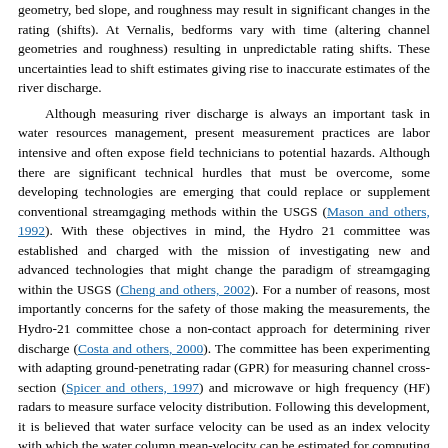geometry, bed slope, and roughness may result in significant changes in the rating (shifts). At Vernalis, bedforms vary with time (altering channel geometries and roughness) resulting in unpredictable rating shifts. These uncertainties lead to shift estimates giving rise to inaccurate estimates of the river discharge.

Although measuring river discharge is always an important task in water resources management, present measurement practices are labor intensive and often expose field technicians to potential hazards. Although there are significant technical hurdles that must be overcome, some developing technologies are emerging that could replace or supplement conventional streamgaging methods within the USGS (Mason and others, 1992). With these objectives in mind, the Hydro 21 committee was established and charged with the mission of investigating new and advanced technologies that might change the paradigm of streamgaging within the USGS (Cheng and others, 2002). For a number of reasons, most importantly concerns for the safety of those making the measurements, the Hydro-21 committee chose a non-contact approach for determining river discharge (Costa and others, 2000). The committee has been experimenting with adapting ground-penetrating radar (GPR) for measuring channel cross-section (Spicer and others, 1997) and microwave or high frequency (HF) radars to measure surface velocity distribution. Following this development, it is believed that water surface velocity can be used as an index velocity with which the water column mean-velocity can be estimated for computing river discharge. In 1999, radar-based systems were successfully deployed by the USGS in an experiment to test the concept of non-contact measurement of streamflow at the Skagit River in Washington (Costa and others, 2000).